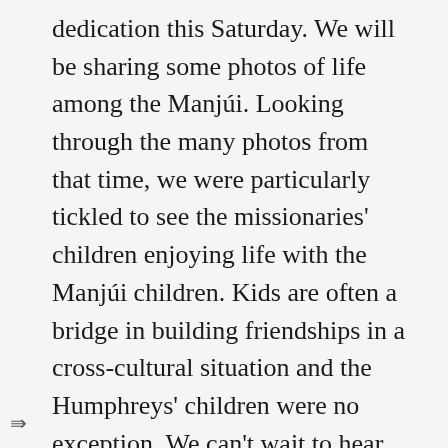dedication this Saturday. We will be sharing some photos of life among the Manjúi. Looking through the many photos from that time, we were particularly tickled to see the missionaries' children enjoying life with the Manjúi children. Kids are often a bridge in building friendships in a cross-cultural situation and the Humphreys' children were no exception. We can't wait to hear more stories this Saturday.
Don't forget, In-ká-hai is also available in ebook format. If you have a Kindle, iBooks, a Kobo, a Nook or Google eBooks (or any e-reader that supports EPUB), you can visit our web store and download a copy of In-ká-hai